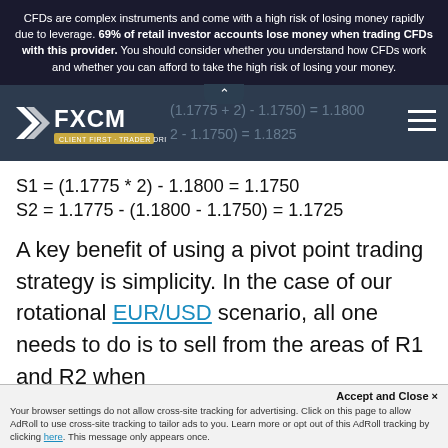CFDs are complex instruments and come with a high risk of losing money rapidly due to leverage. 69% of retail investor accounts lose money when trading CFDs with this provider. You should consider whether you understand how CFDs work and whether you can afford to take the high risk of losing your money.
[Figure (logo): FXCM logo with tagline CLIENT FIRST · TRADER DRIVEN]
A key benefit of using a pivot point trading strategy is simplicity. In the case of our rotational EUR/USD scenario, all one needs to do is to sell from the areas of R1 and R2 when
Accept and Close ✕
Your browser settings do not allow cross-site tracking for advertising. Click on this page to allow AdRoll to use cross-site tracking to tailor ads to you. Learn more or opt out of this AdRoll tracking by clicking here. This message only appears once.